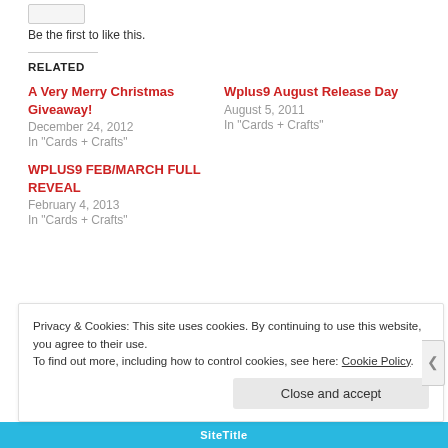Be the first to like this.
RELATED
A Very Merry Christmas Giveaway!
December 24, 2012
In "Cards + Crafts"
Wplus9 August Release Day
August 5, 2011
In "Cards + Crafts"
WPLUS9 FEB/MARCH FULL REVEAL
February 4, 2013
In "Cards + Crafts"
Privacy & Cookies: This site uses cookies. By continuing to use this website, you agree to their use.
To find out more, including how to control cookies, see here: Cookie Policy
Close and accept